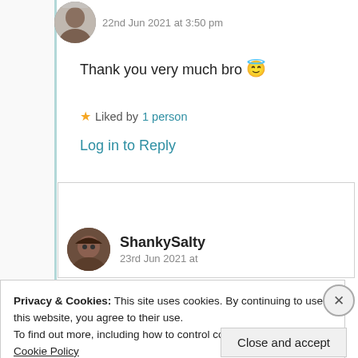22nd Jun 2021 at 3:50 pm
Thank you very much bro 😇
★ Liked by 1 person
Log in to Reply
ShankySalty
23rd Jun 2021 at
Privacy & Cookies: This site uses cookies. By continuing to use this website, you agree to their use.
To find out more, including how to control cookies, see here: Cookie Policy
Close and accept